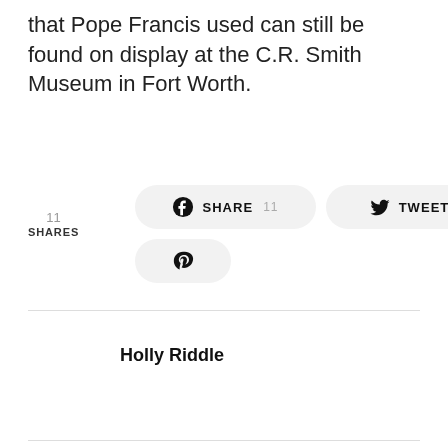that Pope Francis used can still be found on display at the C.R. Smith Museum in Fort Worth.
11 SHARES
[Figure (infographic): Social sharing buttons: Facebook Share with count 11, Tweet button, and Pinterest button]
Holly Riddle